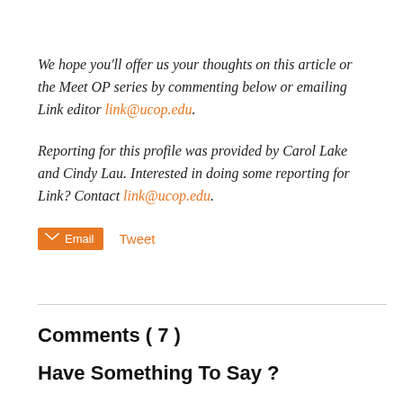We hope you'll offer us your thoughts on this article or the Meet OP series by commenting below or emailing Link editor link@ucop.edu.
Reporting for this profile was provided by Carol Lake and Cindy Lau. Interested in doing some reporting for Link? Contact link@ucop.edu.
Email  Tweet
Comments ( 7 )
Have Something To Say ?